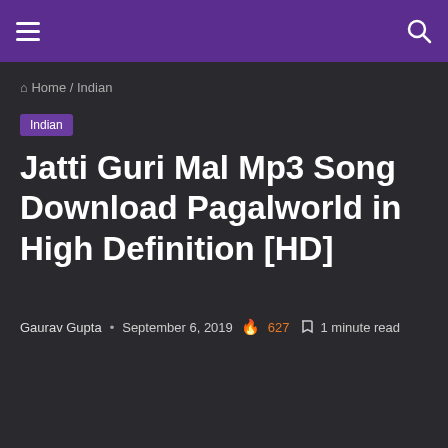☰  🔍
⌂ Home / Indian
Indian
Jatti Guri Mal Mp3 Song Download Pagalworld in High Definition [HD]
Gaurav Gupta • September 6, 2019 🔥 627 🔖 1 minute read